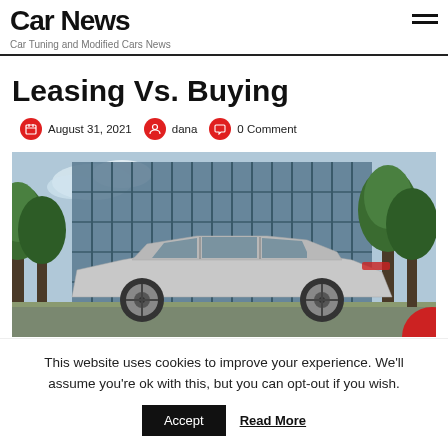Car News — Car Tuning and Modified Cars News
Leasing Vs. Buying
August 31, 2021  dana  0 Comment
[Figure (photo): Silver luxury SUV parked in front of a modern glass building with trees, side profile view]
This website uses cookies to improve your experience. We'll assume you're ok with this, but you can opt-out if you wish. Accept  Read More